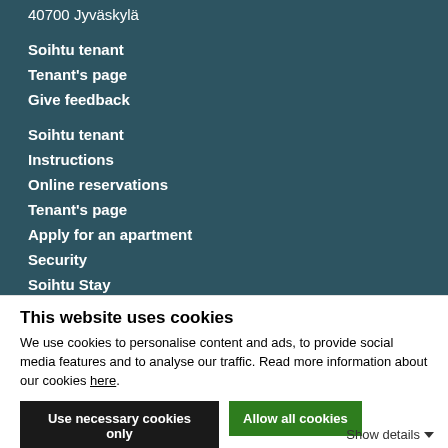40700 Jyväskylä
Soihtu tenant
Tenant's page
Give feedback
Soihtu tenant
Instructions
Online reservations
Tenant's page
Apply for an apartment
Security
Soihtu Stay
This website uses cookies
We use cookies to personalise content and ads, to provide social media features and to analyse our traffic. Read more information about our cookies here.
Use necessary cookies only
Allow all cookies
Show details